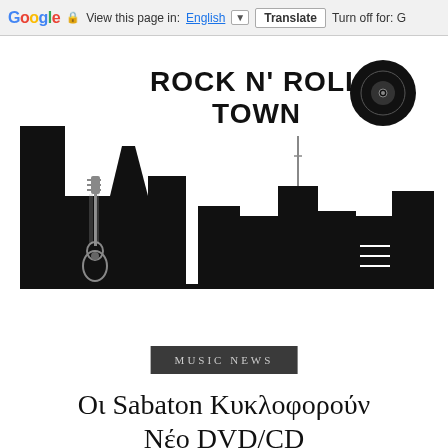Google  View this page in: English [▼]  Translate  Turn off for: G
[Figure (logo): Rock N' Roll Town website logo with city skyline silhouette featuring a guitar, buildings, and a vinyl record icon. Text reads ROCK N' ROLL TOWN in bold uppercase.]
MUSIC NEWS
Οι Sabaton Κυκλοφορούν Νέο DVD/CD